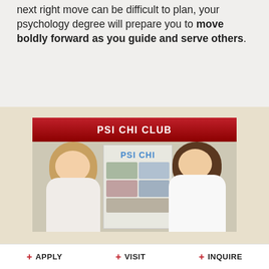next right move can be difficult to plan, your psychology degree will prepare you to move boldly forward as you guide and serve others.
PSI CHI CLUB
[Figure (photo): Two young women smiling in front of a Psi Chi club display board with photos and posters]
+ APPLY   + VISIT   + INQUIRE